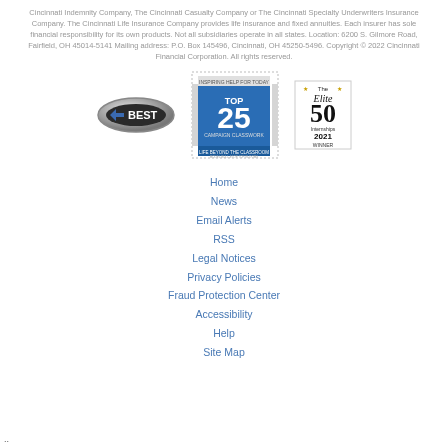Cincinnati Indemnity Company, The Cincinnati Casualty Company or The Cincinnati Specialty Underwriters Insurance Company. The Cincinnati Life Insurance Company provides life insurance and fixed annuities. Each insurer has sole financial responsibility for its own products. Not all subsidiaries operate in all states. Location: 6200 S. Gilmore Road, Fairfield, OH 45014-5141 Mailing address: P.O. Box 145496, Cincinnati, OH 45250-5496. Copyright © 2022 Cincinnati Financial Corporation. All rights reserved.
[Figure (logo): A.M. Best logo badge - oval silver shape with A BEST text]
[Figure (logo): Top 25 Campaign Classwork blue square badge]
[Figure (logo): The Elite 50 Internships 2021 Winner badge]
Home
News
Email Alerts
RSS
Legal Notices
Privacy Policies
Fraud Protection Center
Accessibility
Help
Site Map